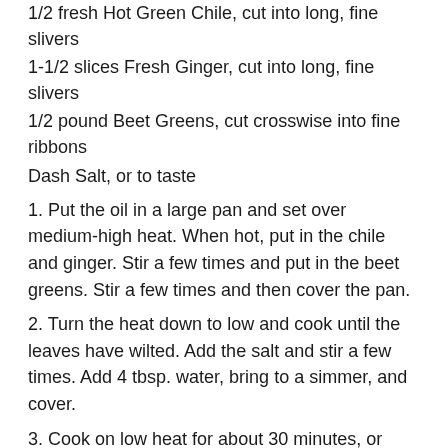1/2 fresh Hot Green Chile, cut into long, fine slivers
1-1/2 slices Fresh Ginger, cut into long, fine slivers
1/2 pound Beet Greens, cut crosswise into fine ribbons
Dash Salt, or to taste
1. Put the oil in a large pan and set over medium-high heat. When hot, put in the chile and ginger. Stir a few times and put in the beet greens. Stir a few times and then cover the pan.
2. Turn the heat down to low and cook until the leaves have wilted. Add the salt and stir a few times. Add 4 tbsp. water, bring to a simmer, and cover.
3. Cook on low heat for about 30 minutes, or until the greens are tender. Stir every now and then during this period. Serve with pasta or rice.
And another kale recipe from Angelic Organics, a CSA farm that lik...